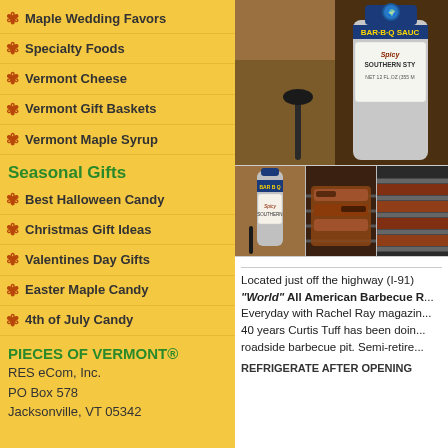Maple Wedding Favors
Specialty Foods
Vermont Cheese
Vermont Gift Baskets
Vermont Maple Syrup
Seasonal Gifts
Best Halloween Candy
Christmas Gift Ideas
Valentines Day Gifts
Easter Maple Candy
4th of July Candy
PIECES OF VERMONT®
RES eCom, Inc.
PO Box 578
Jacksonville, VT 05342
[Figure (photo): BBQ sauce bottle product image - Spicy Southern Style Bar-B-Q Sauce]
[Figure (photo): Three thumbnail images: sauce bottle, grilled ribs, grill closeup]
Located just off the highway (I-91) "World" All American Barbecue R... Everyday with Rachel Ray magazin... 40 years Curtis Tuff has been doin... roadside barbecue pit. Semi-retire...
REFRIGERATE AFTER OPENING